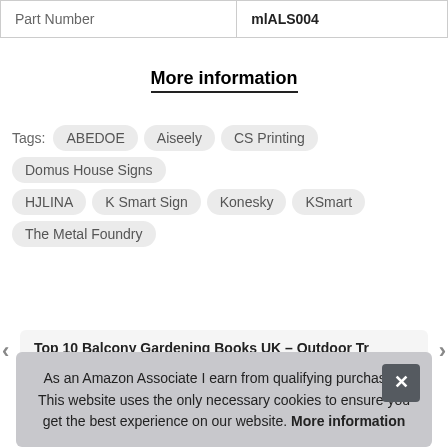| Part Number | mlALS004 |
| --- | --- |
More information
Tags: ABEDOE  Aiseely  CS Printing  Domus House Signs  HJLINA  K Smart Sign  Konesky  KSmart  The Metal Foundry
Top 10 Balcony Gardening Books UK – Outdoor Tr
As an Amazon Associate I earn from qualifying purchases. This website uses the only necessary cookies to ensure you get the best experience on our website. More information